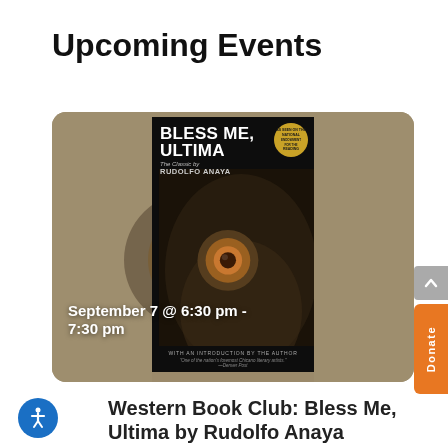Upcoming Events
[Figure (illustration): Event card with book cover of 'Bless Me, Ultima' by Rudolfo Anaya showing an owl eye close-up on a tan/khaki background, with date overlay text 'September 7 @ 6:30 pm - 7:30 pm']
September 7 @ 6:30 pm - 7:30 pm
Western Book Club: Bless Me, Ultima by Rudolfo Anaya